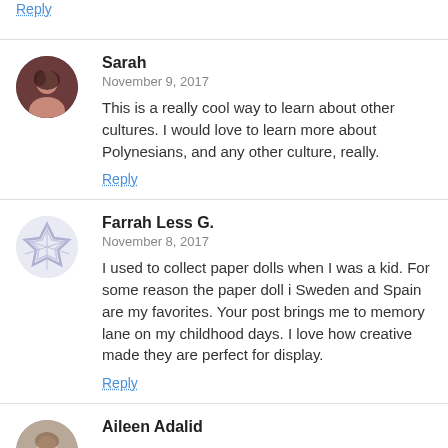Reply
Sarah
November 9, 2017
This is a really cool way to learn about other cultures. I would love to learn more about Polynesians, and any other culture, really.
Reply
Farrah Less G.
November 8, 2017
I used to collect paper dolls when I was a kid. For some reason the paper doll i Sweden and Spain are my favorites. Your post brings me to memory lane on my childhood days. I love how creative made they are perfect for display.
Reply
Aileen Adalid